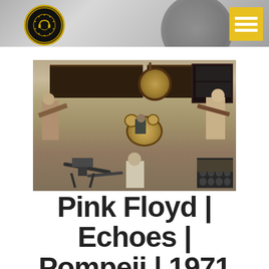Official Music Producers logo and navigation menu
[Figure (photo): Aerial view of Pink Floyd performing outdoors at Pompeii in 1971, showing band members with guitars and drums, large speaker stacks and amplifiers visible, camera crew at bottom]
Pink Floyd | Echoes | Pompeii | 1971